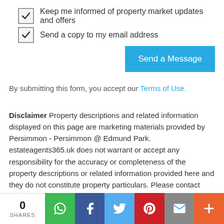Keep me informed of property market updates and offers
Send a copy to my email address
By submitting this form, you accept our Terms of Use.
Disclaimer Property descriptions and related information displayed on this page are marketing materials provided by Persimmon - Persimmon @ Edmund Park. estateagents365.uk does not warrant or accept any responsibility for the accuracy or completeness of the property descriptions or related information provided here and they do not constitute property particulars. Please contact Persimmon - Persimmon @ Edmund Park for full details and further information.
Find more Semi-detached houses For Sale in Frome
[Figure (other): Social sharing bar with 0 shares count and buttons for WhatsApp, Facebook, Twitter, Pinterest, Email, and More]